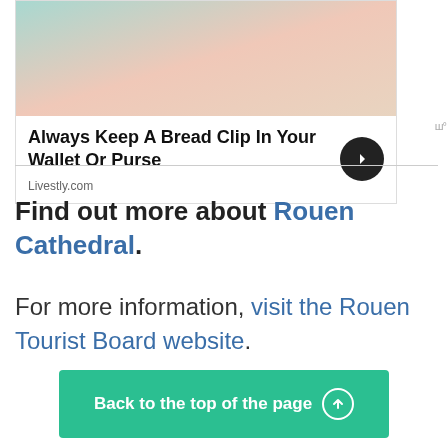[Figure (photo): Advertisement banner showing a hand holding a bread clip, from Livestly.com, with title 'Always Keep A Bread Clip In Your Wallet Or Purse']
Find out more about Rouen Cathedral.
For more information, visit the Rouen Tourist Board website.
Back to the top of the page